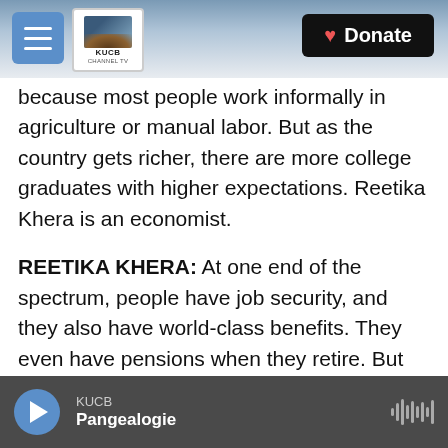KUCB — Donate
because most people work informally in agriculture or manual labor. But as the country gets richer, there are more college graduates with higher expectations. Reetika Khera is an economist.
REETIKA KHERA: At one end of the spectrum, people have job security, and they also have world-class benefits. They even have pensions when they retire. But this is available only to less than 10% of people in the workforce.
KUMAR: If you're in a second-tier city and you don't speak English, even if you have those multiple master's degrees, jobs with those kind of benefits
KUCB — Pangealogie